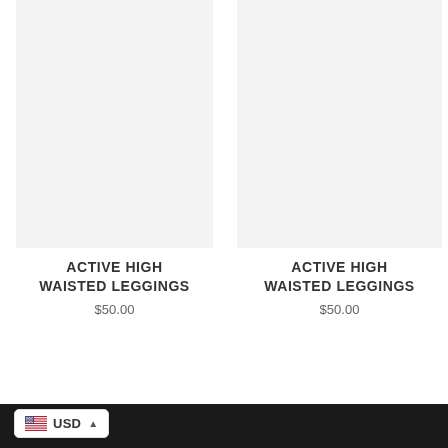[Figure (photo): Product image placeholder for Active High Waisted Leggings, left card, light gray background]
ACTIVE HIGH WAISTED LEGGINGS
$50.00
[Figure (photo): Product image placeholder for Active High Waisted Leggings, right card, light gray background]
ACTIVE HIGH WAISTED LEGGINGS
$50.00
USD